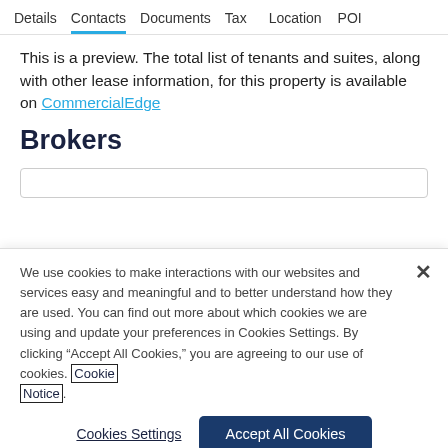Details  Contacts  Documents  Tax  Location  POI
This is a preview. The total list of tenants and suites, along with other lease information, for this property is available on CommercialEdge
Brokers
We use cookies to make interactions with our websites and services easy and meaningful and to better understand how they are used. You can find out more about which cookies we are using and update your preferences in Cookies Settings. By clicking “Accept All Cookies,” you are agreeing to our use of cookies. Cookie Notice.
Cookies Settings | Accept All Cookies